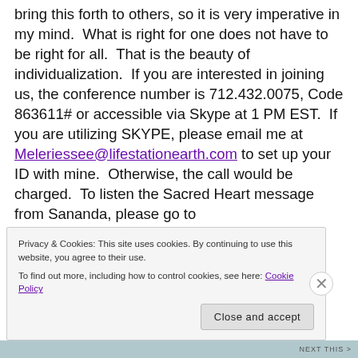bring this forth to others, so it is very imperative in my mind.  What is right for one does not have to be right for all.  That is the beauty of individualization.  If you are interested in joining us, the conference number is 712.432.0075, Code 863611# or accessible via Skype at 1 PM EST.  If you are utilizing SKYPE, please email me at Meleriessee@lifestationearth.com to set up your ID with mine.  Otherwise, the call would be charged.  To listen the Sacred Heart message from Sananda, please go to http://lifestationearth.com/page_58.html which also has an audio recording of our Christmas Gathering on
Privacy & Cookies: This site uses cookies. By continuing to use this website, you agree to their use. To find out more, including how to control cookies, see here: Cookie Policy
Close and accept